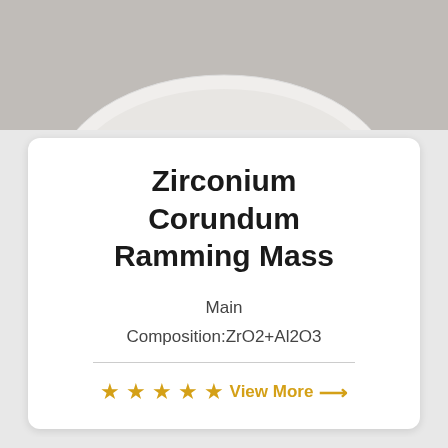[Figure (photo): Top portion of a white/cream colored circular ceramic or refractory dish on a gray background, partially cropped at top]
Zirconium Corundum Ramming Mass
Main Composition:ZrO2+Al2O3
★★★★★ View More →
[Figure (photo): White granular powder/material (zirconium corundum ramming mass) piled on a black background, showing the powder texture]